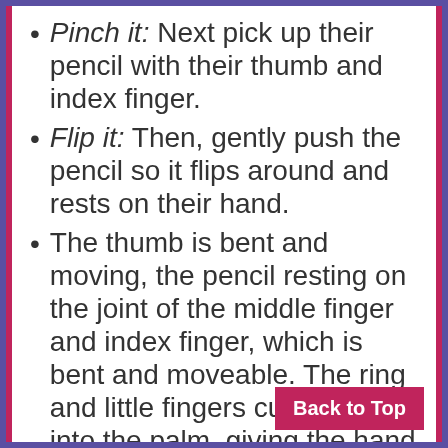Pinch it: Next pick up their pencil with their thumb and index finger.
Flip it: Then, gently push the pencil so it flips around and rests on their hand.
The thumb is bent and moving, the pencil resting on the joint of the middle finger and index finger, which is bent and moveable. The ring and little fingers curl softly into the palm, giving the hand stability. It is okay if they use their thumb and three fingers to grasp the pencil, too.